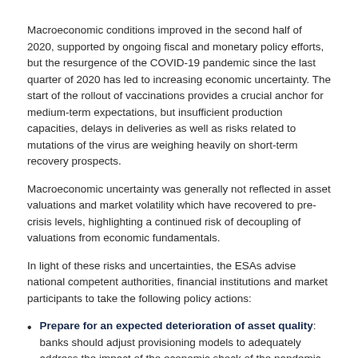Macroeconomic conditions improved in the second half of 2020, supported by ongoing fiscal and monetary policy efforts, but the resurgence of the COVID-19 pandemic since the last quarter of 2020 has led to increasing economic uncertainty. The start of the rollout of vaccinations provides a crucial anchor for medium-term expectations, but insufficient production capacities, delays in deliveries as well as risks related to mutations of the virus are weighing heavily on short-term recovery prospects.
Macroeconomic uncertainty was generally not reflected in asset valuations and market volatility which have recovered to pre-crisis levels, highlighting a continued risk of decoupling of valuations from economic fundamentals.
In light of these risks and uncertainties, the ESAs advise national competent authorities, financial institutions and market participants to take the following policy actions:
Prepare for an expected deterioration of asset quality: banks should adjust provisioning models to adequately address the impact of the economic shock of the pandemic and to ensure a timely recognition of adequate levels of provisions. They should engage to restructure over indebted but viable exposure efficiently. To supervisors, banks' provisioning policies should continue to be a point of particular attention: